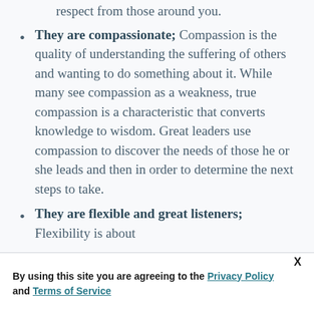They are compassionate; Compassion is the quality of understanding the suffering of others and wanting to do something about it. While many see compassion as a weakness, true compassion is a characteristic that converts knowledge to wisdom. Great leaders use compassion to discover the needs of those he or she leads and then in order to determine the next steps to take.
They are flexible and great listeners; Flexibility is about
By using this site you are agreeing to the Privacy Policy and Terms of Service